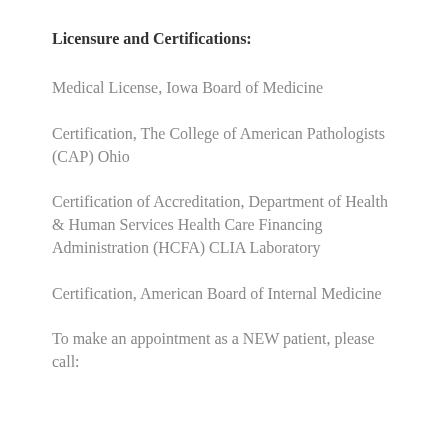Licensure and Certifications:
Medical License, Iowa Board of Medicine
Certification, The College of American Pathologists (CAP) Ohio
Certification of Accreditation, Department of Health & Human Services Health Care Financing Administration (HCFA) CLIA Laboratory
Certification, American Board of Internal Medicine
To make an appointment as a NEW patient, please call: